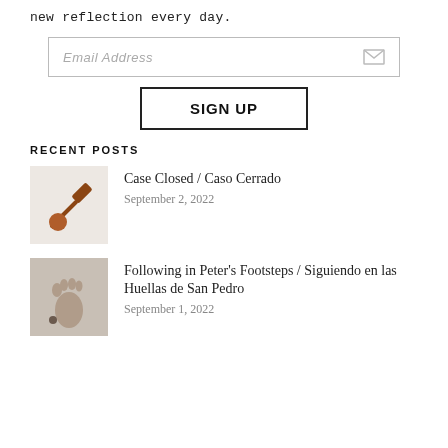new reflection every day.
[Figure (screenshot): Email address input field with envelope icon]
[Figure (screenshot): SIGN UP button with black border]
RECENT POSTS
[Figure (photo): A gavel and circular disc on white background]
Case Closed / Caso Cerrado
September 2, 2022
[Figure (photo): Footprint in sand on white background]
Following in Peter's Footsteps / Siguiendo en las Huellas de San Pedro
September 1, 2022